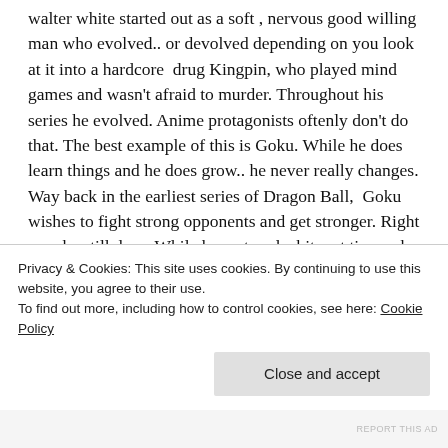walter white started out as a soft , nervous good willing man who evolved.. or devolved depending on you look at it into a hardcore  drug Kingpin, who played mind games and wasn't afraid to murder. Throughout his series he evolved. Anime protagonists oftenly don't do that. The best example of this is Goku. While he does learn things and he does grow.. he never really changes. Way back in the earliest series of Dragon Ball,  Goku wishes to fight strong opponents and get stronger. Right now he still does. While he matured a bit... at times , he has not experienced significant change because his goals are the story engine.. it keeps on going. Enter
Privacy & Cookies: This site uses cookies. By continuing to use this website, you agree to their use.
To find out more, including how to control cookies, see here: Cookie Policy
Close and accept